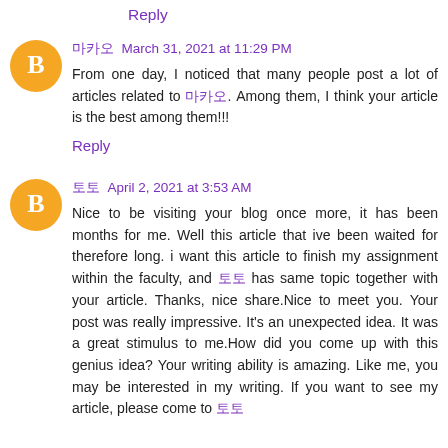Reply (top)
마카오 March 31, 2021 at 11:29 PM
From one day, I noticed that many people post a lot of articles related to 마카오. Among them, I think your article is the best among them!!!
Reply
토토 April 2, 2021 at 3:53 AM
Nice to be visiting your blog once more, it has been months for me. Well this article that ive been waited for therefore long. i want this article to finish my assignment within the faculty, and 토토 has same topic together with your article. Thanks, nice share.Nice to meet you. Your post was really impressive. It's an unexpected idea. It was a great stimulus to me.How did you come up with this genius idea? Your writing ability is amazing. Like me, you may be interested in my writing. If you want to see my article, please come to 토토